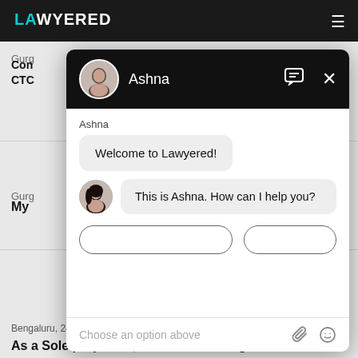[Figure (screenshot): Screenshot of the Lawyered website with a chat widget overlay featuring 'Ashna'. The background shows a dark navigation bar with the Lawyered logo. The chat window is black-headered with a profile picture and name 'Ashna', two chat bubbles saying 'Welcome to Lawyered!' and 'This is Ashna. How can I help you?', a 'Choose an option above' placeholder, and attachment/emoji icons. Background website text shows lawyer listings and a query about Sole proprietor licenses/registrations.]
Ashna
Welcome to Lawyered!
This is Ashna. How can I help you?
Choose an option above
Bengaluru,  24 Sep, 2019,  (2 years, 11 months ago)
As a Sole proprietor, what licenses/registrations do i